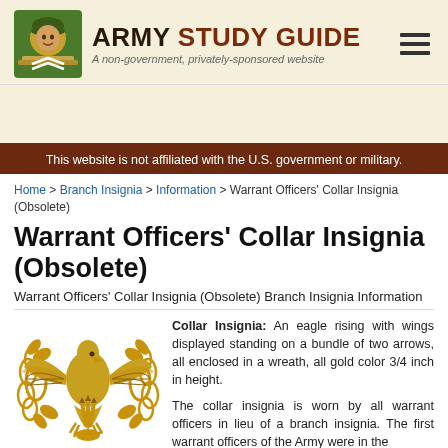ARMY STUDY GUIDE — A non-government, privately-sponsored website
This website is not affiliated with the U.S. government or military.
Home > Branch Insignia > Information > Warrant Officers' Collar Insignia (Obsolete)
Warrant Officers' Collar Insignia (Obsolete)
Warrant Officers' Collar Insignia (Obsolete) Branch Insignia Information
[Figure (illustration): Gold eagle rising with wings displayed, standing on a bundle of two arrows, enclosed in a wreath — US Army Warrant Officers' collar insignia]
Collar Insignia: An eagle rising with wings displayed standing on a bundle of two arrows, all enclosed in a wreath, all gold color 3/4 inch in height.

The collar insignia is worn by all warrant officers in lieu of a branch insignia. The first warrant officers of the Army were in the